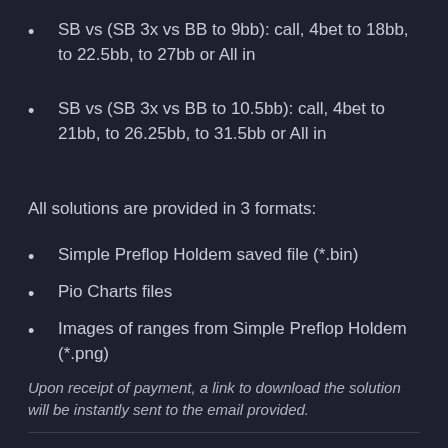SB vs (SB 3x vs BB to 9bb): call, 4bet to 18bb, to 22.5bb, to 27bb or All in
SB vs (SB 3x vs BB to 10.5bb): call, 4bet to 21bb, to 26.25bb, to 31.5bb or All in
All solutions are provided in 3 formats:
Simple Preflop Holdem saved file (*.bin)
Pio Charts files
Images of ranges from Simple Preflop Holdem (*.png)
Upon receipt of payment, a link to download the solution will be instantly sent to the email provided.
Share